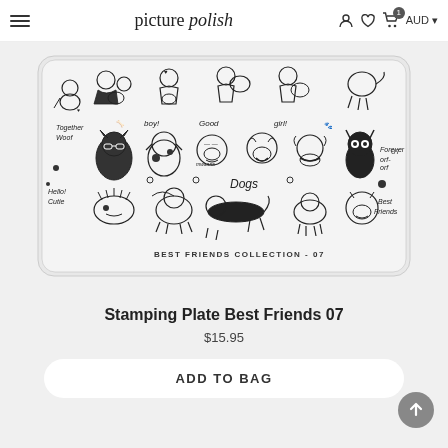picture polish — AUD
[Figure (photo): Stamping plate 'Best Friends Collection - 07' showing various cute dog and girl illustrations on a silver metallic rectangular plate. Includes cartoon dogs, girls with dogs, text labels like 'boy!', 'Good', 'girl!', 'Together', 'Woof', 'Hello! Cutie', 'Dogs', 'Forever', 'arf-arf', 'Best Friends'. Labeled BEST FRIENDS COLLECTION - 07 at the bottom.]
Stamping Plate Best Friends 07
$15.95
ADD TO BAG